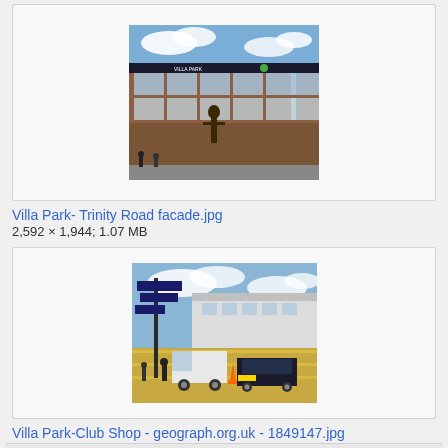[Figure (photo): Exterior facade of Villa Park stadium building, Trinity Road stand, showing brick and glass structure with signage and a statue in front, blue sky with clouds]
Villa Park- Trinity Road facade.jpg
2,592 × 1,944; 1.07 MB
[Figure (photo): Villa Park Club Shop area with street signs, parked cars in foreground including a white van and dark car, stadium stand visible in background, cloudy sky]
Villa Park-Club Shop - geograph.org.uk - 1849147.jpg
640 × 480; 69 KB